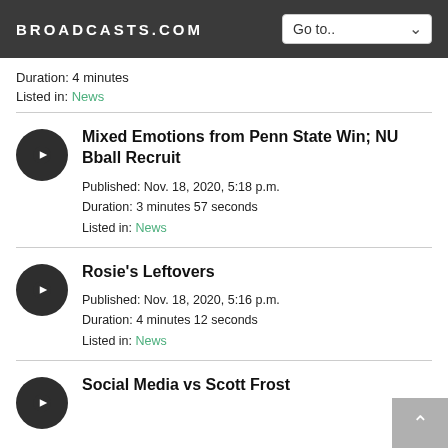BROADCASTS.COM
Duration: 4 minutes
Listed in: News
Mixed Emotions from Penn State Win; NU Bball Recruit
Published: Nov. 18, 2020, 5:18 p.m.
Duration: 3 minutes 57 seconds
Listed in: News
Rosie's Leftovers
Published: Nov. 18, 2020, 5:16 p.m.
Duration: 4 minutes 12 seconds
Listed in: News
Social Media vs Scott Frost